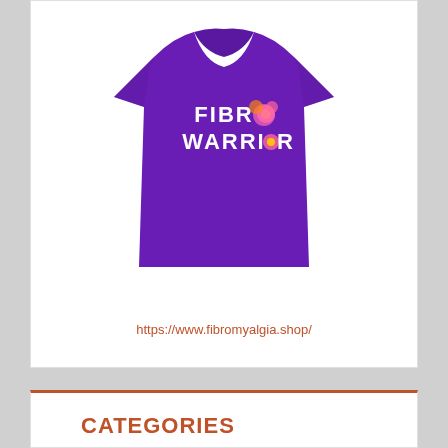[Figure (photo): Purple t-shirt with 'FIBRO WARRIOR' text and floral design printed on it]
https://www.fibromyalgia.shop/
CATEGORIES
Alzheimer
Ankylosing Spondylitis
Anxiety